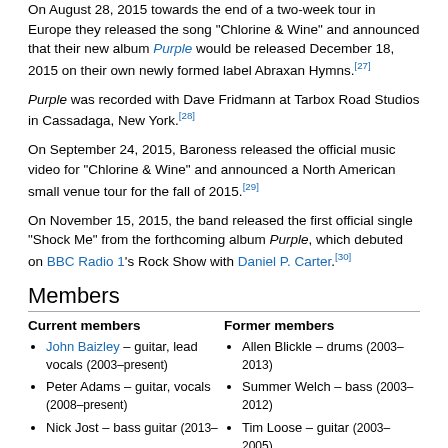On August 28, 2015 towards the end of a two-week tour in Europe they released the song "Chlorine & Wine" and announced that their new album Purple would be released December 18, 2015 on their own newly formed label Abraxan Hymns.[27]
Purple was recorded with Dave Fridmann at Tarbox Road Studios in Cassadaga, New York.[28]
On September 24, 2015, Baroness released the official music video for "Chlorine & Wine" and announced a North American small venue tour for the fall of 2015.[29]
On November 15, 2015, the band released the first official single "Shock Me" from the forthcoming album Purple, which debuted on BBC Radio 1's Rock Show with Daniel P. Carter.[30]
Members
| Current members | Former members |
| --- | --- |
| John Baizley – guitar, lead vocals (2003–present) | Allen Blickle – drums (2003–2013) |
| Peter Adams – guitar, vocals (2008–present) | Summer Welch – bass (2003–2012) |
| Nick Jost – bass guitar (2013–…) | Tim Loose – guitar (2003–2005) |